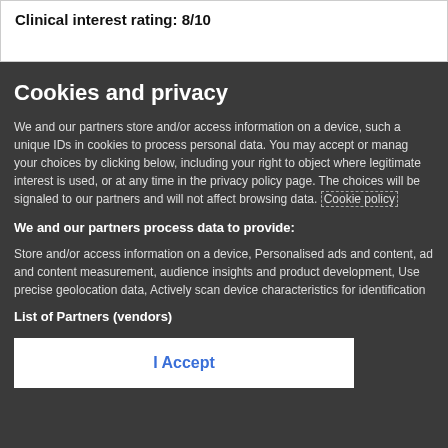Clinical interest rating: 8/10
Cookies and privacy
We and our partners store and/or access information on a device, such a unique IDs in cookies to process personal data. You may accept or manage your choices by clicking below, including your right to object where legitimate interest is used, or at any time in the privacy policy page. These choices will be signaled to our partners and will not affect browsing data. Cookie policy
We and our partners process data to provide:
Store and/or access information on a device, Personalised ads and content, ad and content measurement, audience insights and product development, Use precise geolocation data, Actively scan device characteristics for identification
List of Partners (vendors)
I Accept